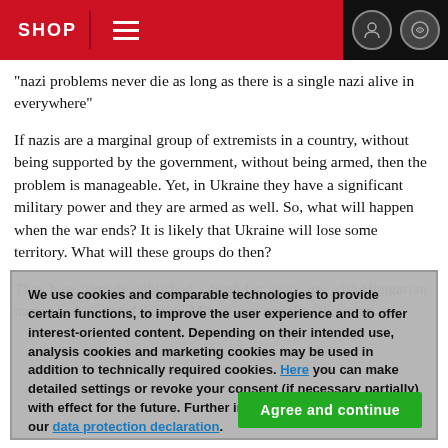SHOP
"nazi problems never die as long as there is a single nazi alive in everywhere"
If nazis are a marginal group of extremists in a country, without being supported by the government, without being armed, then the problem is manageable. Yet, in Ukraine they have a significant military power and they are armed as well. So, what will happen when the war ends? It is likely that Ukraine will lose some territory. What will these groups do then?
They have already published a death list years ago with Hungarian names and personal data on Mitrovorec and the Ukrainian...
We use cookies and comparable technologies to provide certain functions, to improve the user experience and to offer interest-oriented content. Depending on their intended use, analysis cookies and marketing cookies may be used in addition to technically required cookies. Here you can make detailed settings or revoke your consent (if necessary partially) with effect for the future. Further information can be found in our data protection declaration.